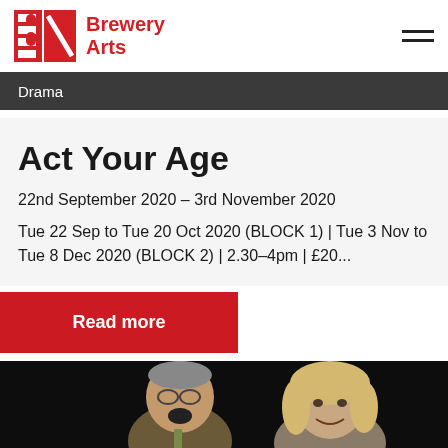Brewery Arts
Drama
Act Your Age
22nd September 2020 – 3rd November 2020
Tue 22 Sep to Tue 20 Oct 2020 (BLOCK 1) | Tue 3 Nov to Tue 8 Dec 2020 (BLOCK 2) | 2.30–4pm | £20...
Read more
[Figure (photo): Two theatre performers on a dark stage, an older man in glasses and jacket on the left and a woman with light hair on the right, both appearing to be mid-performance]